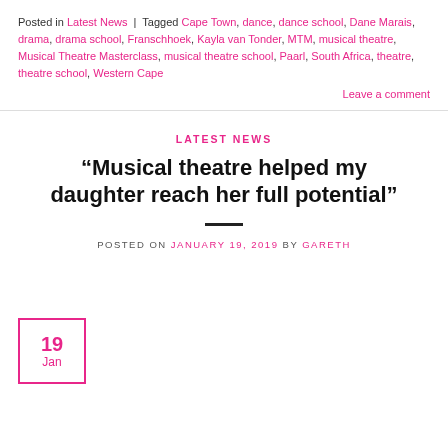Posted in Latest News | Tagged Cape Town, dance, dance school, Dane Marais, drama, drama school, Franschhoek, Kayla van Tonder, MTM, musical theatre, Musical Theatre Masterclass, musical theatre school, Paarl, South Africa, theatre, theatre school, Western Cape
Leave a comment
LATEST NEWS
“Musical theatre helped my daughter reach her full potential”
POSTED ON JANUARY 19, 2019 BY GARETH
19 Jan